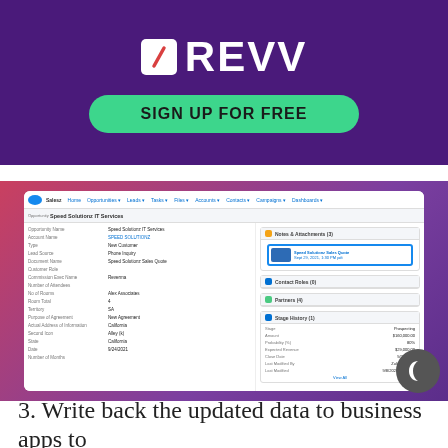[Figure (logo): REVV logo on purple banner with SIGN UP FOR FREE green button]
[Figure (screenshot): Salesforce CRM interface showing Speed Solutions IT Services opportunity record with documents and attachments panel]
3. Write back the updated data to business apps to